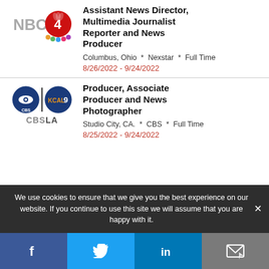Assistant News Director, Multimedia Journalist Reporter and News Producer
Columbus, Ohio * Nexstar * Full Time
8/26/2022 - 9/24/2022
Producer, Associate Producer and News Photographer
Studio City, CA. * CBS * Full Time
8/25/2022 - 9/24/2022
We use cookies to ensure that we give you the best experience on our website. If you continue to use this site we will assume that you are happy with it.